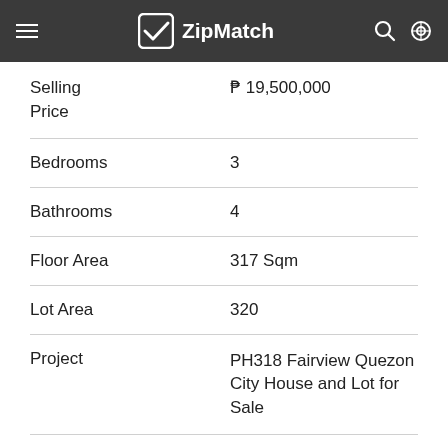ZipMatch
| Property | Value |
| --- | --- |
| Selling Price | ₱ 19,500,000 |
| Bedrooms | 3 |
| Bathrooms | 4 |
| Floor Area | 317 Sqm |
| Lot Area | 320 |
| Project | PH318 Fairview Quezon City House and Lot for Sale |
| Parking Slots | 3 |
| With Balcony | Yes |
| No. of Floors | 2 |
| Date Listed | Feb 11, 2016 |